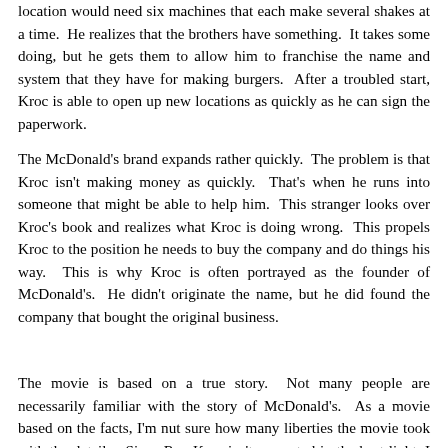location would need six machines that each make several shakes at a time.  He realizes that the brothers have something.  It takes some doing, but he gets them to allow him to franchise the name and system that they have for making burgers.  After a troubled start, Kroc is able to open up new locations as quickly as he can sign the paperwork.
The McDonald's brand expands rather quickly.  The problem is that Kroc isn't making money as quickly.  That's when he runs into someone that might be able to help him.  This stranger looks over Kroc's book and realizes what Kroc is doing wrong.  This propels Kroc to the position he needs to buy the company and do things his way.  This is why Kroc is often portrayed as the founder of McDonald's.  He didn't originate the name, but he did found the company that bought the original business.
The movie is based on a true story.  Not many people are necessarily familiar with the story of McDonald's.  As a movie based on the facts, I'm nut sure how many liberties the movie took with the details.  Since Ray Kroc isn't presented in the best light, I would imagine that they stuck as closely to the facts as they could.  Kroc starts out as a somewhat